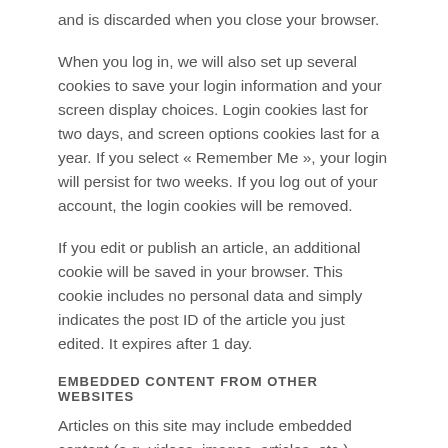and is discarded when you close your browser.
When you log in, we will also set up several cookies to save your login information and your screen display choices. Login cookies last for two days, and screen options cookies last for a year. If you select « Remember Me », your login will persist for two weeks. If you log out of your account, the login cookies will be removed.
If you edit or publish an article, an additional cookie will be saved in your browser. This cookie includes no personal data and simply indicates the post ID of the article you just edited. It expires after 1 day.
EMBEDDED CONTENT FROM OTHER WEBSITES
Articles on this site may include embedded content (e.g. videos, images, articles, etc.). Embedded content from other websites behaves in the exact same way as if the visitor has visited the other website.
These websites may collect data about you, use cookies,